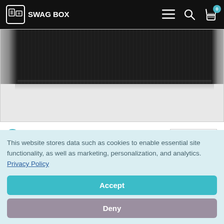SWAG BOX — navigation bar with logo, menu, search, and cart icons
[Figure (photo): Top portion of a product image showing black fabric/material against a light grey background]
181744 VIEWS
• SKU: 11293400
[Figure (logo): FIELD & CO. brand logo in a bordered box]
This website stores data such as cookies to enable essential site functionality, as well as marketing, personalization, and analytics. Privacy Policy
Accept
Deny